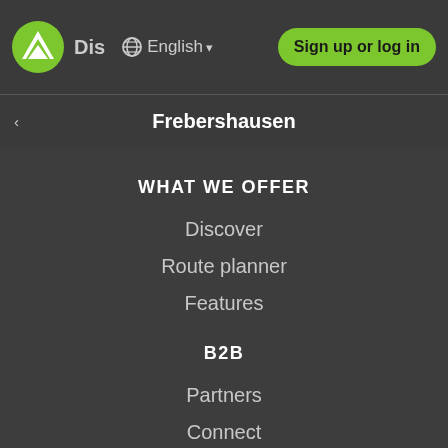Dis  English  Sign up or log in
Frebershausen
WHAT WE OFFER
Discover
Route planner
Features
B2B
Partners
Connect
Embed Routes
ABOUT US
About